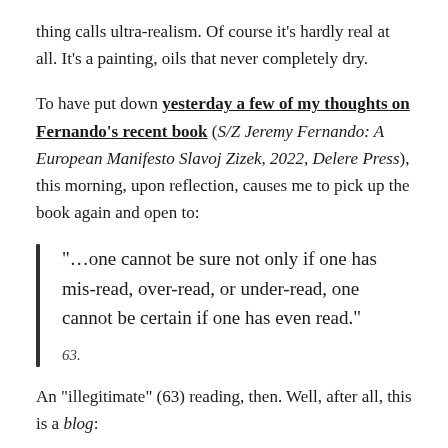thing calls ultra-realism. Of course it's hardly real at all. It's a painting, oils that never completely dry.
To have put down yesterday a few of my thoughts on Fernando's recent book (S/Z Jeremy Fernando: A European Manifesto Slavoj Zizek, 2022, Delere Press), this morning, upon reflection, causes me to pick up the book again and open to:
“…one cannot be sure not only if one has mis-read, over-read, or under-read, one cannot be certain if one has even read.”
63.
An “illegitimate” (63) reading, then. Well, after all, this is a blog: